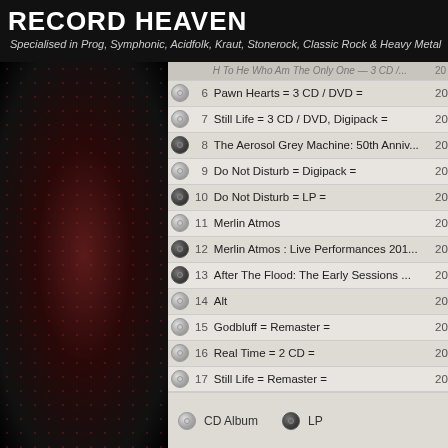RECORD HEAVEN — Specialised in Prog, Symphonic, Acidfolk, Kraut, Stonerock, Classic Rock & Heavy Metal
| icon | # | Title | Year |
| --- | --- | --- | --- |
| CD | 6 | Pawn Hearts = 3 CD / DVD = | 202 |
| CD | 7 | Still Life = 3 CD / DVD, Digipack = | 202 |
| LP | 8 | The Aerosol Grey Machine: 50th Anniv... | 202 |
| CD | 9 | Do Not Disturb = Digipack = | 202 |
| LP | 10 | Do Not Disturb = LP = | 202 |
| CD | 11 | Merlin Atmos | 202 |
| LP | 12 | Merlin Atmos : Live Performances 201... | 202 |
| LP | 13 | After The Flood: The Early Sessions ... | 202 |
| CD | 14 | Alt | 202 |
| CD | 15 | Godbluff = Remaster = | 200 |
| CD | 16 | Real Time = 2 CD = | 200 |
| CD | 17 | Still Life = Remaster = | 200 |
| CD | 18 | H To He Who Am The Only One = Remast... | 200 |
| CD | 19 | Pawn Hearts = Remaster = | 200 |
| CD | 20 | The Least We Can Do Is Wave To Each ... | 200 |
| CD | 21 | Godbluff = Remaster, Bonus Tracks = | 200 |
| CD | 22 | Vital Live = 2 CD = | 200 |
CD Album  LP